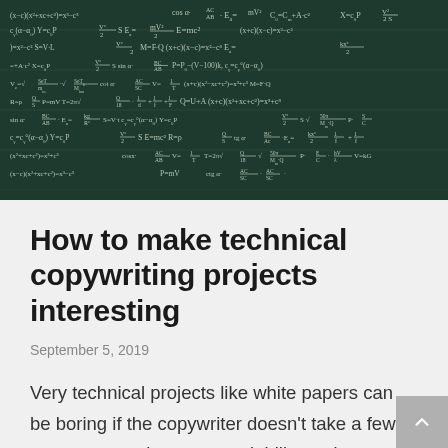[Figure (photo): Chalkboard covered in mathematical formulas and equations written in chalk, including E=mc², various calculus and algebra expressions, physics equations.]
How to make technical copywriting projects interesting
September 5, 2019
Very technical projects like white papers can be boring if the copywriter doesn't take a few extra steps to improve readability and